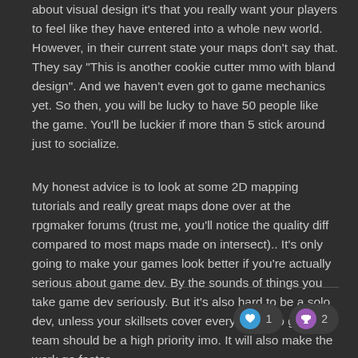about visual design it's that you really want your players to feel like they have entered into a whole new world. However, in their current state your maps don't say that. They say "This is another cookie cutter mmo with bland design". And we haven't even got to game mechanics yet. So then, you will be lucky to have 50 people like the game. You'll be luckier if more than 5 stick around just to socialize.
My honest advice is to look at some 2D mapping tutorials and really great maps done over at the rpgmaker forums (trust me, you'll notice the quality diff compared to most maps made on intersect).. It's only going to make your games look better if you're actually serious about game dev. By the sounds of things you take game dev seriously. But it's also hard to be a solo dev, unless your skillsets cover everything. So getting a team should be a high priority imo. It will also make the work go faster.